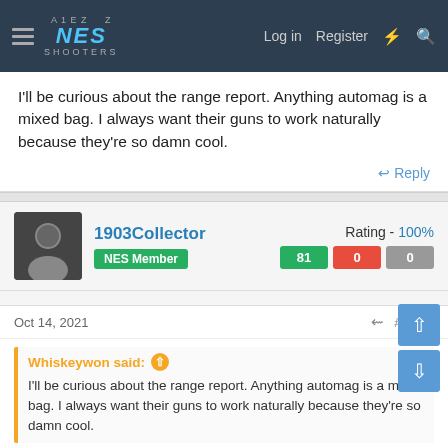NES SHOOTERS — Log in  Register
I'll be curious about the range report. Anything automag is a mixed bag. I always want their guns to work naturally because they're so damn cool.
Reply
1903Collector  NES Member  Rating - 100%  81  0  0
Oct 14, 2021  #16/50
Whiskeywon said: ↑  I'll be curious about the range report. Anything automag is a mixed bag. I always want their guns to work naturally because they're so damn cool.
I've had a few Automag 2s and 3s over they years, they all worked fine, it's just getting magazines and parts that's tough.